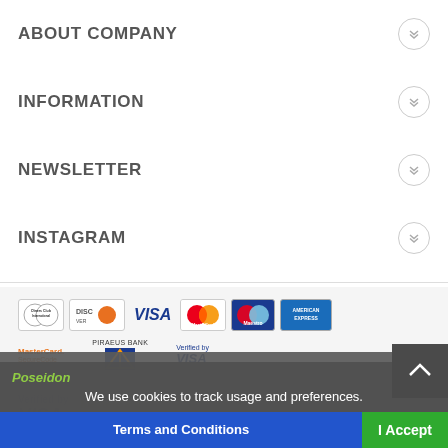ABOUT COMPANY
INFORMATION
NEWSLETTER
INSTAGRAM
[Figure (logo): Payment method logos: Diners Club International, Discover, Visa, MasterCard, Maestro, American Express, MasterCard SecureCode, Piraeus Bank, Verified by Visa]
[Figure (logo): Verified by Visa and MasterCard SecureCode logos (large)]
Copyright 2018 Athena and Poseidon. All rights reserved. Web development - Soluti-
We use cookies to track usage and preferences.
Terms and Conditions
I Accept